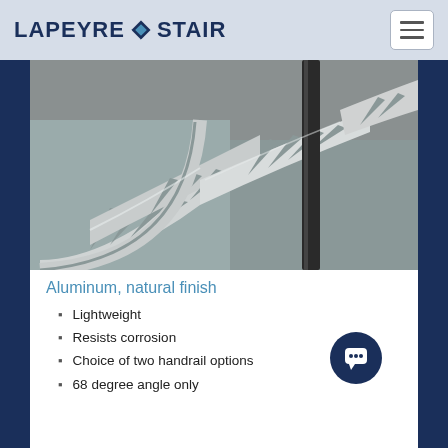LAPEYRE STAIR
[Figure (photo): Close-up photograph of aluminum stair treads with a natural finish, showing fan-shaped cut-out patterns in the treads and a dark handrail post, with diamond-plate texture visible beneath.]
Aluminum, natural finish
Lightweight
Resists corrosion
Choice of two handrail options
68 degree angle only